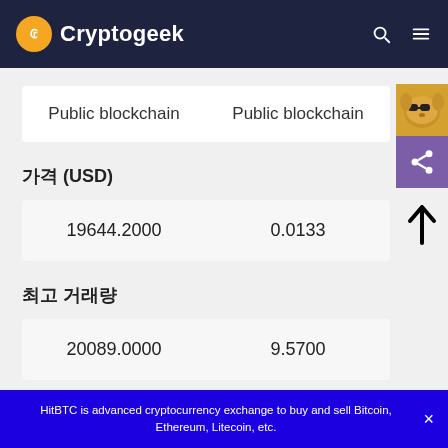Cryptogeek
| Public blockchain | Public blockchain |
| --- | --- |
가격 (USD)
| 19644.2000 | 0.0133 |
최고 거래량
| 20089.0000 | 9.5700 |
HitBTC is advanced cryptocurrency exchange to buy and sell Bitcoin, Ethereum, Litecoin, etc.